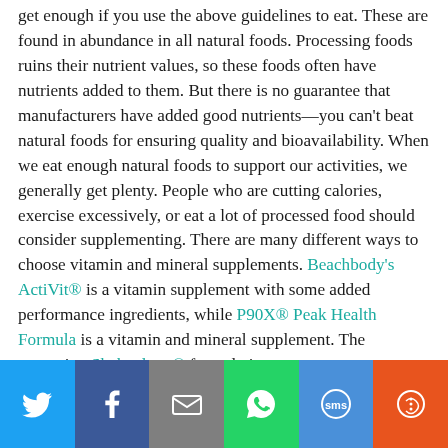get enough if you use the above guidelines to eat. These are found in abundance in all natural foods. Processing foods ruins their nutrient values, so these foods often have nutrients added to them. But there is no guarantee that manufacturers have added good nutrients—you can't beat natural foods for ensuring quality and bioavailability. When we eat enough natural foods to support our activities, we generally get plenty. People who are cutting calories, exercise excessively, or eat a lot of processed food should consider supplementing. There are many different ways to choose vitamin and mineral supplements. Beachbody's ActiVit® is a vitamin supplement with some added performance ingredients, while P90X® Peak Health Formula is a vitamin and mineral supplement. The upcoming Shakeology® formulation
[Figure (other): Social sharing toolbar with Twitter, Facebook, Email, WhatsApp, SMS, and More buttons]